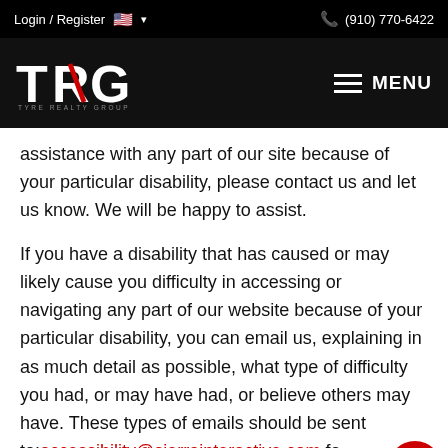Login / Register  🇺🇸 ▾    (910) 770-6422
[Figure (logo): TRG - Tyre Realty Group logo on black background with MENU hamburger button]
assistance with any part of our site because of your particular disability, please contact us and let us know. We will be happy to assist.
If you have a disability that has caused or may likely cause you difficulty in accessing or navigating any part of our website because of your particular disability, you can email us, explaining in as much detail as possible, what type of difficulty you had, or may have had, or believe others may have. These types of emails should be sent to: accessibility@sierrainteractive.com for forwarding to us. Note: if the email is sent to a third